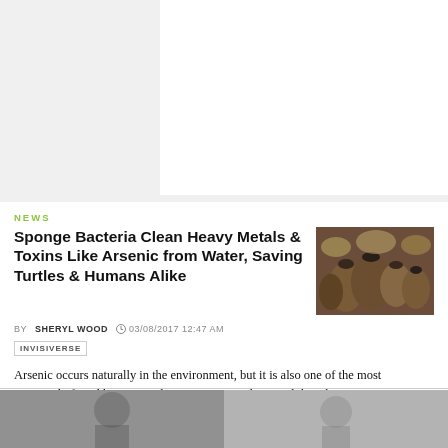[Figure (other): White advertisement block area at top of page]
NEWS
Sponge Bacteria Clean Heavy Metals & Toxins Like Arsenic from Water, Saving Turtles & Humans Alike
[Figure (photo): Close-up underwater photo of brown sea sponges with tube-like openings]
BY SHERYL WOOD  03/08/2017 12:47 AM
INVISIVERSE
Arsenic occurs naturally in the environment, but it is also one of the most commonly found heavy metals in wastewater, deposited there by inappropriate disposal and arsenical pesticides, for example.
[Figure (photo): Two partial photos visible at bottom of page]
[Figure (photo): Second partial photo at bottom right of page]